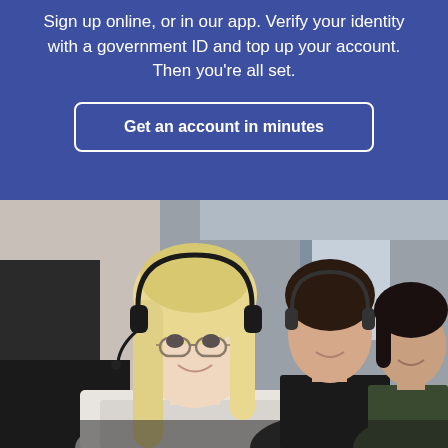Sign up online, or in our app. Verify your identity with a government ID and top up your account. Then you're all set.
Get an account in minutes
[Figure (photo): A smiling woman with long blonde hair wearing glasses and a headset sits at a desk in an office. Behind her, two other women also wearing headsets are visible, all appearing to work as customer support agents.]